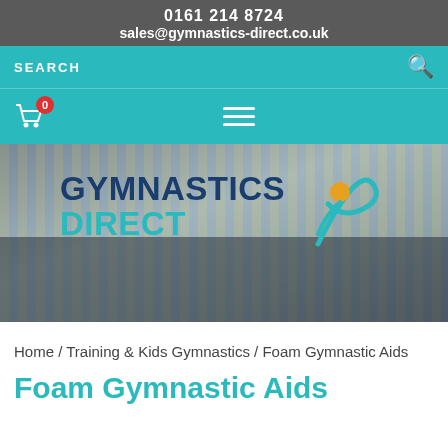0161 214 8724
sales@gymnastics-direct.co.uk
SEARCH
[Figure (screenshot): Gymnastics Direct website header with logo, search bar, cart icon and hamburger menu]
Home / Training & Kids Gymnastics / Foam Gymnastic Aids
Foam Gymnastic Aids